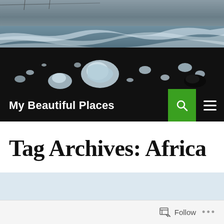[Figure (photo): A black sand beach with chunks of glacial ice scattered on the shore, dark ocean waves in the background with a stormy grey sky. Power lines visible on the horizon.]
My Beautiful Places
Tag Archives: Africa
Follow
...